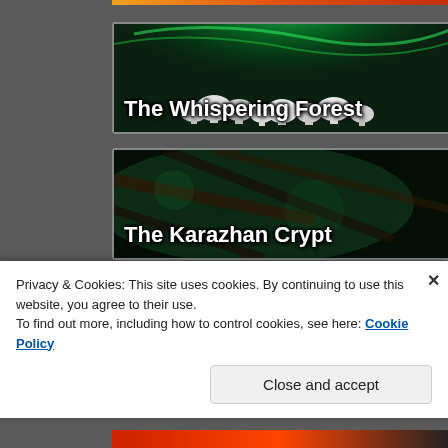[Figure (screenshot): Game location thumbnail: The Whispering Forest - glowing green forest with mushrooms and aurora-like lights]
[Figure (screenshot): Game location thumbnail: The Karazhan Crypt - dark eerie dungeon with green atmospheric lighting]
[Figure (screenshot): Game location thumbnail: Secrets of Darkmoon Island - dark mystical scene with purple pillars and glowing eye gem]
Privacy & Cookies: This site uses cookies. By continuing to use this website, you agree to their use.
To find out more, including how to control cookies, see here: Cookie Policy
Close and accept